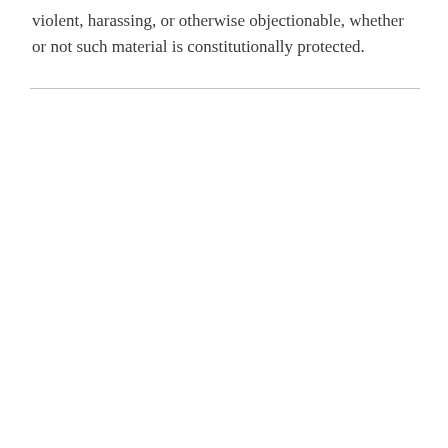violent, harassing, or otherwise objectionable, whether or not such material is constitutionally protected.